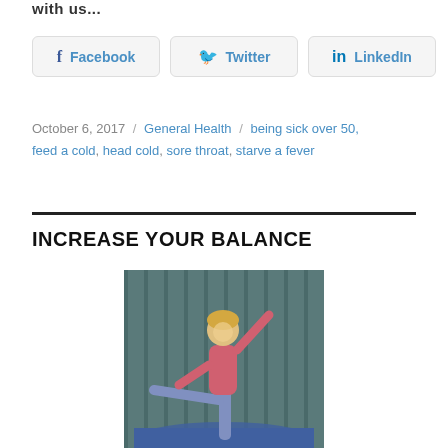with us...
[Figure (infographic): Social sharing buttons for Facebook, Twitter, and LinkedIn]
October 6, 2017 / General Health / being sick over 50, feed a cold, head cold, sore throat, starve a fever
INCREASE YOUR BALANCE
[Figure (photo): Woman in pink top balancing on one leg with arm raised, exercising balance]